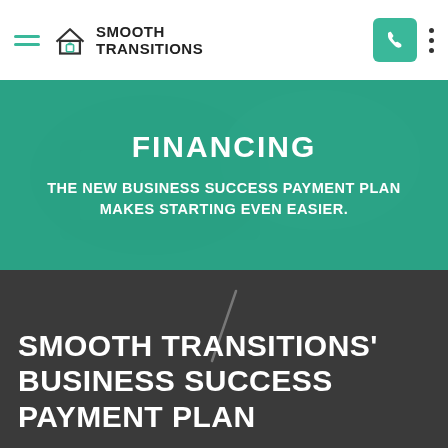SMOOTH TRANSITIONS
FINANCING
THE NEW BUSINESS SUCCESS PAYMENT PLAN MAKES STARTING EVEN EASIER.
SMOOTH TRANSITIONS' BUSINESS SUCCESS PAYMENT PLAN